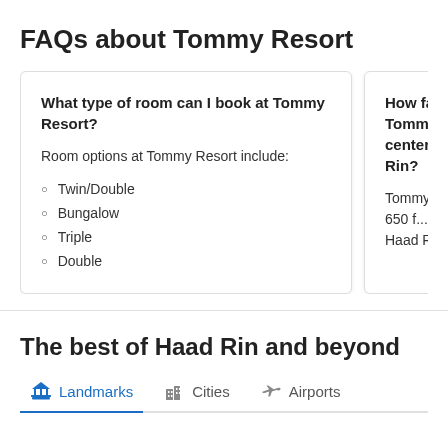FAQs about Tommy Resort
What type of room can I book at Tommy Resort?
Room options at Tommy Resort include:
Twin/Double
Bungalow
Triple
Double
How far is Tommy Resort from the center of Haad Rin?
Tommy Resort is 650 from the center of Haad Rin.
The best of Haad Rin and beyond
Landmarks  Cities  Airports